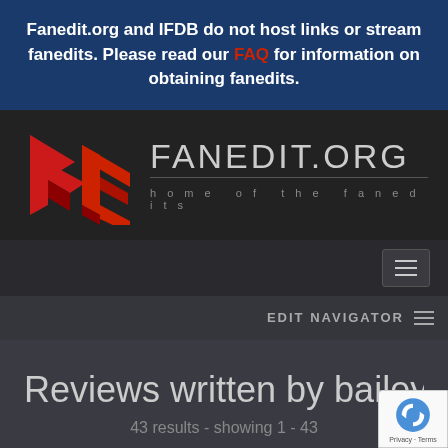Fanedit.org and IFDB do not host links or stream fanedits. Please read our FAQ for information on obtaining fanedits.
[Figure (logo): Fanedit.org logo with red geometric FE icon and grey FANEDIT.ORG text with tagline 'home of the fanedits']
[Figure (other): Navigation hamburger menu button]
EDIT NAVIGATOR
Reviews written by bailey
43 results - showing 1 - 43
[Figure (other): Google reCAPTCHA badge with blue recycling-style icon and Privacy · Terms link]